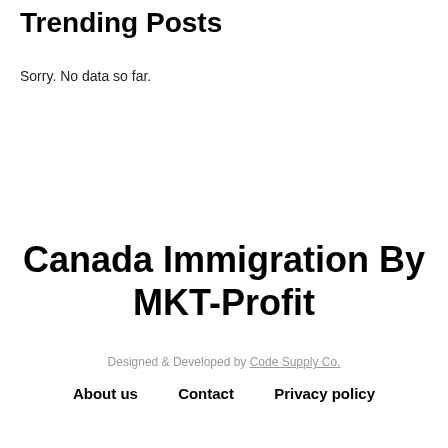Trending Posts
Sorry. No data so far.
Canada Immigration By MKT-Profit
Designed & Developed by Code Supply Co.
About us   Contact   Privacy policy